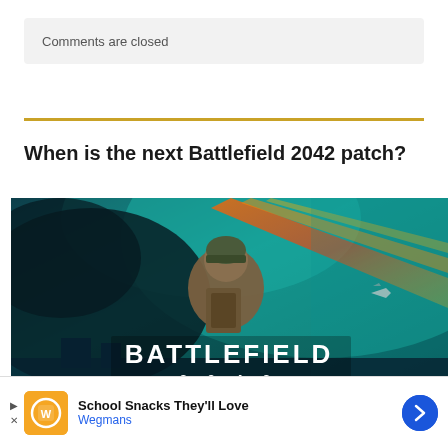Comments are closed
[Figure (illustration): Battlefield 2042 game cover art showing a soldier with a backpack and helmet in front of teal/cyan sky with dramatic light streaks and the text BATTLEFIELD 2042]
When is the next Battlefield 2042 patch?
School Snacks They'll Love Wegmans